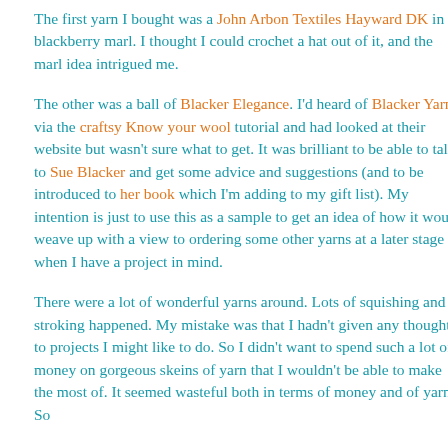The first yarn I bought was a John Arbon Textiles Hayward DK in blackberry marl. I thought I could crochet a hat out of it, and the marl idea intrigued me.
The other was a ball of Blacker Elegance. I'd heard of Blacker Yarns via the craftsy Know your wool tutorial and had looked at their website but wasn't sure what to get. It was brilliant to be able to talk to Sue Blacker and get some advice and suggestions (and to be introduced to her book which I'm adding to my gift list). My intention is just to use this as a sample to get an idea of how it would weave up with a view to ordering some other yarns at a later stage when I have a project in mind.
There were a lot of wonderful yarns around. Lots of squishing and stroking happened. My mistake was that I hadn't given any thoughts to projects I might like to do. So I didn't want to spend such a lot of money on gorgeous skeins of yarn that I wouldn't be able to make the most of. It seemed wasteful both in terms of money and of yarn. So